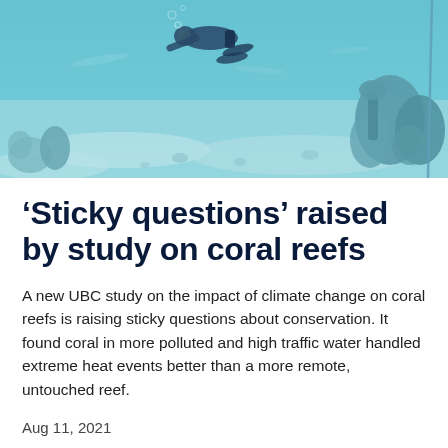[Figure (photo): Underwater photograph showing a scuba diver swimming above a coral reef seafloor. The image has a blue-teal tint. The sandy bottom and coral formations are visible, with a rope or line visible on the right side.]
‘Sticky questions’ raised by study on coral reefs
A new UBC study on the impact of climate change on coral reefs is raising sticky questions about conservation. It found coral in more polluted and high traffic water handled extreme heat events better than a more remote, untouched reef.
Aug 11, 2021